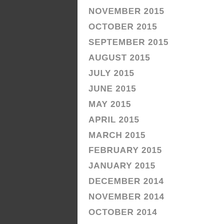NOVEMBER 2015
OCTOBER 2015
SEPTEMBER 2015
AUGUST 2015
JULY 2015
JUNE 2015
MAY 2015
APRIL 2015
MARCH 2015
FEBRUARY 2015
JANUARY 2015
DECEMBER 2014
NOVEMBER 2014
OCTOBER 2014
SEPTEMBER 2014